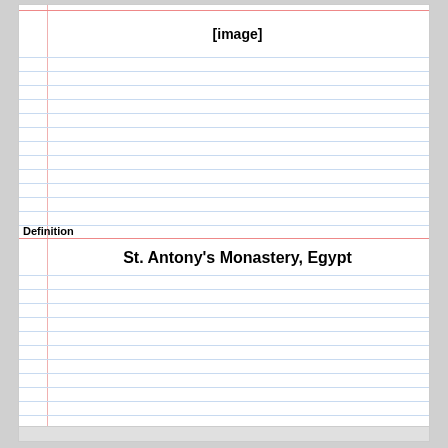[Figure (other): [image] placeholder in lined notebook area]
Definition
St. Antony's Monastery, Egypt